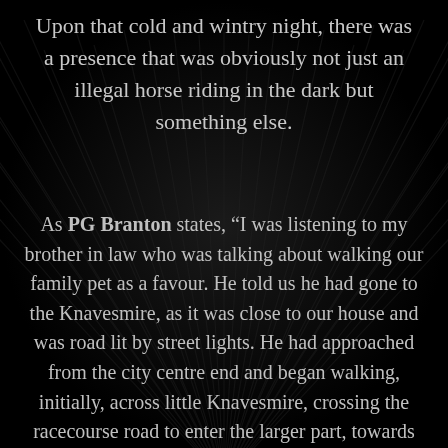Upon that cold and wintry night, there was a presence that was obviously not just an illegal horse riding in the dark but something else.
As PG Branton states, “I was listening to my brother in law who was talking about walking our family pet as a favour. He told us he had gone to the Knavesmire, as it was close to our house and was road lit by street lights. He had approached from the city centre end and began walking, initially, across little Knavesmire, crossing the racecourse road to enter the larger part, towards where Tyburn was situated. The night was bitter, dark and eerily misty. He recalls remaining close to the road barrier for light, just inside the tree